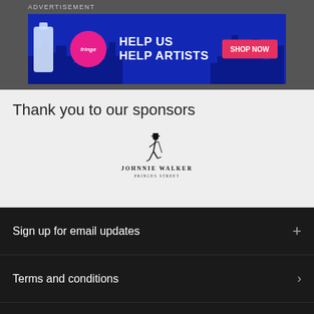ADVERTISEMENT
[Figure (infographic): Advertisement banner: blue background with silhouetted cityscape, pink circle with 'fringe' text, bold white text 'HELP US HELP ARTISTS', red/pink button 'SHOP NOW', bottle graphic on left]
Thank you to our sponsors
[Figure (logo): Johnnie Walker Princes Street logo - striding man figure in black, text 'JOHNNIE WALKER' and 'PRINCES STREET' below]
Sign up for email updates
Terms and conditions
Privacy policy